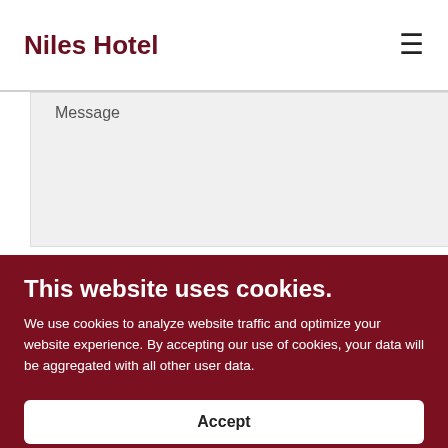Niles Hotel
Message
This website uses cookies.
We use cookies to analyze website traffic and optimize your website experience. By accepting our use of cookies, your data will be aggregated with all other user data.
Accept